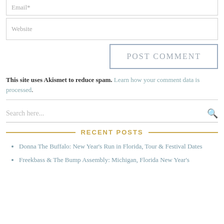Email*
Website
POST COMMENT
This site uses Akismet to reduce spam. Learn how your comment data is processed.
Search here...
RECENT POSTS
Donna The Buffalo: New Year's Run in Florida, Tour & Festival Dates
Freekbass & The Bump Assembly: Michigan, Florida New Year's